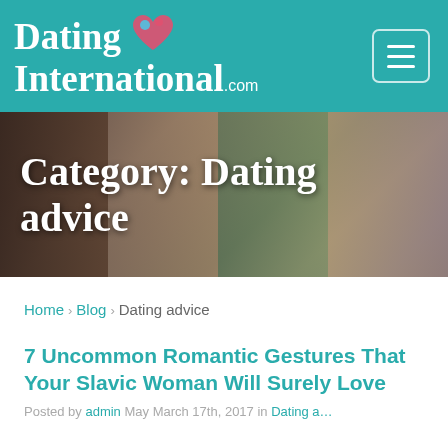DatingInternational.com
[Figure (photo): Hero banner with photos of smiling couples and individuals, overlaid with semi-transparent dark filter]
Category: Dating advice
Home › Blog › Dating advice
7 Uncommon Romantic Gestures That Your Slavic Woman Will Surely Love
Posted by admin May March 17th, 2017 in Dating advice